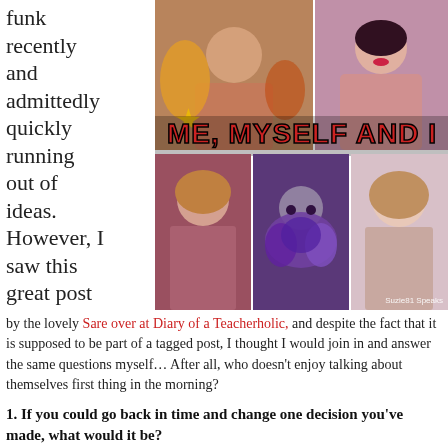funk recently and admittedly quickly running out of ideas. However, I saw this great post
[Figure (photo): Collage of 5 selfie photos of women arranged in two rows with 'ME, MYSELF AND I' overlaid in red graffiti-style font. The bottom right photo has 'Suzie81 Speaks' watermark.]
by the lovely Sare over at Diary of a Teacherholic, and despite the fact that it is supposed to be part of a tagged post, I thought I would join in and answer the same questions myself… After all, who doesn't enjoy talking about themselves first thing in the morning?
1. If you could go back in time and change one decision you've made, what would it be?